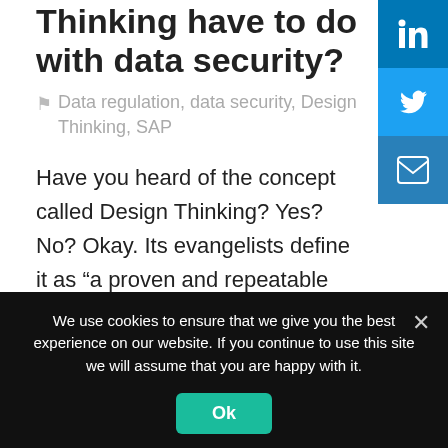What does Design Thinking have to do with data security?
Data regulation, data security, Design Thinking, SAP
Have you heard of the concept called Design Thinking? Yes? No? Okay. Its evangelists define it as “a proven and repeatable problem-solving protocol that…
We use cookies to ensure that we give you the best experience on our website. If you continue to use this site we will assume that you are happy with it.